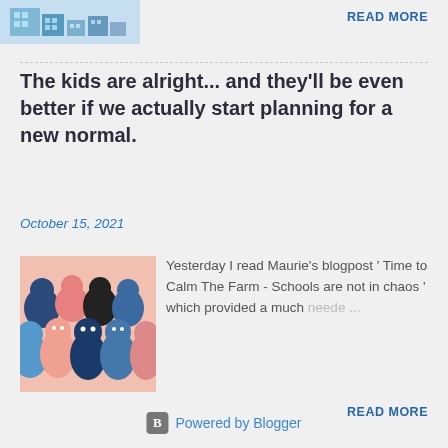[Figure (illustration): Partial view of a blog post thumbnail showing a building/city illustration with blue tones]
READ MORE
The kids are alright... and they'll be even better if we actually start planning for a new normal.
October 15, 2021
[Figure (illustration): Colorful illustration of diverse group of people faces/heads in pink, blue, and dark tones]
Yesterday I read Maurie's blogpost ' Time to Calm The Farm - Schools are not in chaos ' which provided a much neede ...
READ MORE
Powered by Blogger